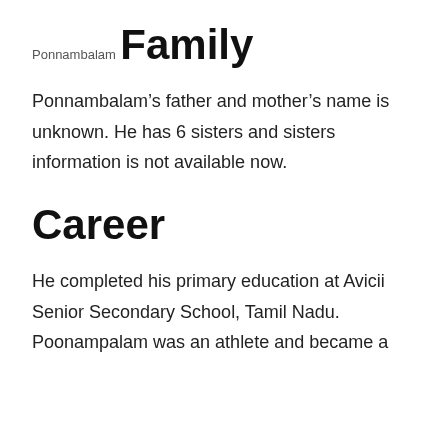Ponnambalam
Family
Ponnambalam’s father and mother’s name is unknown. He has 6 sisters and sisters information is not available now.
Career
He completed his primary education at Avicii Senior Secondary School, Tamil Nadu. Poonampalam was an athlete and became a